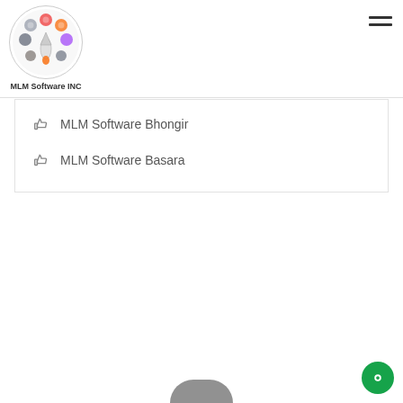[Figure (logo): MLM Software INC circular logo with icons and rocket, text below reads MLM Software INC]
MLM Software Bhongir
MLM Software Basara
[Figure (other): Partial dark rounded shape visible at bottom center of page, likely a person or object cut off]